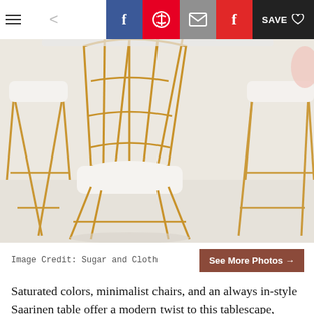≡  <  [Facebook] [Pinterest] [Email] [Flipboard] [SAVE ♡]
[Figure (photo): Three minimalist white cushion chairs with gold wire frames around a white Saarinen-style round table on a white floor, photographed from above/behind.]
Image Credit: Sugar and Cloth
Saturated colors, minimalist chairs, and an always in-style Saarinen table offer a modern twist to this tablescape, designed by Ashley Rose from Sugar & Cloth.